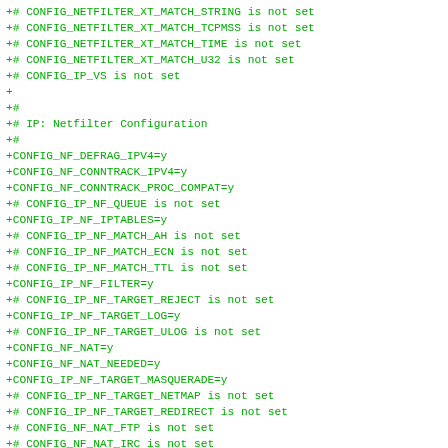+# CONFIG_NETFILTER_XT_MATCH_STRING is not set
+# CONFIG_NETFILTER_XT_MATCH_TCPMSS is not set
+# CONFIG_NETFILTER_XT_MATCH_TIME is not set
+# CONFIG_NETFILTER_XT_MATCH_U32 is not set
+# CONFIG_IP_VS is not set
+
+#
+# IP: Netfilter Configuration
+#
+CONFIG_NF_DEFRAG_IPV4=y
+CONFIG_NF_CONNTRACK_IPV4=y
+CONFIG_NF_CONNTRACK_PROC_COMPAT=y
+# CONFIG_IP_NF_QUEUE is not set
+CONFIG_IP_NF_IPTABLES=y
+# CONFIG_IP_NF_MATCH_AH is not set
+# CONFIG_IP_NF_MATCH_ECN is not set
+# CONFIG_IP_NF_MATCH_TTL is not set
+CONFIG_IP_NF_FILTER=y
+# CONFIG_IP_NF_TARGET_REJECT is not set
+CONFIG_IP_NF_TARGET_LOG=y
+# CONFIG_IP_NF_TARGET_ULOG is not set
+CONFIG_NF_NAT=y
+CONFIG_NF_NAT_NEEDED=y
+CONFIG_IP_NF_TARGET_MASQUERADE=y
+# CONFIG_IP_NF_TARGET_NETMAP is not set
+# CONFIG_IP_NF_TARGET_REDIRECT is not set
+# CONFIG_NF_NAT_FTP is not set
+# CONFIG_NF_NAT_IRC is not set
+# CONFIG_NF_NAT_TFTP is not set
+# CONFIG_NF_NAT_AMANDA is not set
+# CONFIG_NF_NAT_PPTP is not set
+# CONFIG_NF_NAT_H323 is not set
+# CONFIG_NF_NAT_SIP is not set